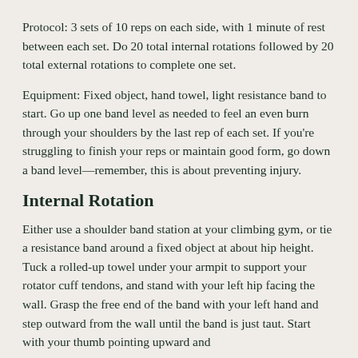Protocol: 3 sets of 10 reps on each side, with 1 minute of rest between each set. Do 20 total internal rotations followed by 20 total external rotations to complete one set.
Equipment: Fixed object, hand towel, light resistance band to start. Go up one band level as needed to feel an even burn through your shoulders by the last rep of each set. If you're struggling to finish your reps or maintain good form, go down a band level—remember, this is about preventing injury.
Internal Rotation
Either use a shoulder band station at your climbing gym, or tie a resistance band around a fixed object at about hip height. Tuck a rolled-up towel under your armpit to support your rotator cuff tendons, and stand with your left hip facing the wall. Grasp the free end of the band with your left hand and step outward from the wall until the band is just taut. Start with your thumb pointing upward and